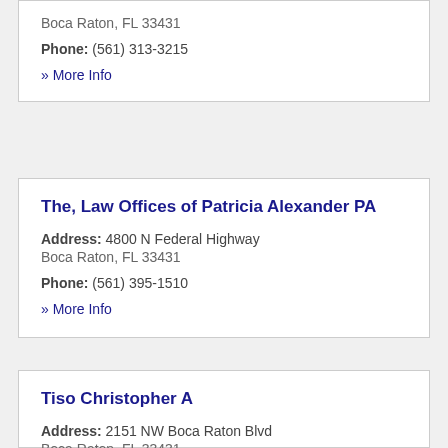Boca Raton, FL 33431
Phone: (561) 313-3215
» More Info
The, Law Offices of Patricia Alexander PA
Address: 4800 N Federal Highway
Boca Raton, FL 33431
Phone: (561) 395-1510
» More Info
Tiso Christopher A
Address: 2151 NW Boca Raton Blvd
Boca Raton, FL 33431
Phone: (561) 393-0565